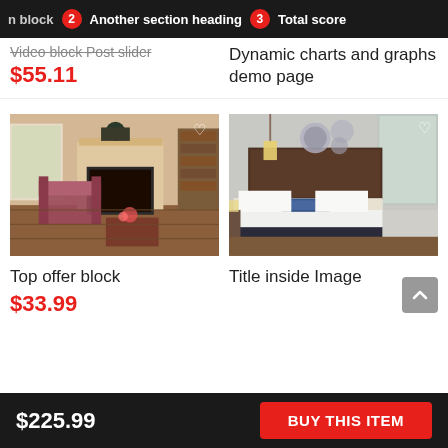n block  2  Another section heading  3  Total score
Video block Post slider
$55.11
Dynamic charts and graphs demo page
[Figure (photo): Interior living room with fireplace, armchairs and wooden floors]
[Figure (photo): Luxury hotel bedroom with large bed, pendant lights and dark wood headboard]
Top offer block
$33.99
Title inside Image
$225.99  BUY THIS ITEM